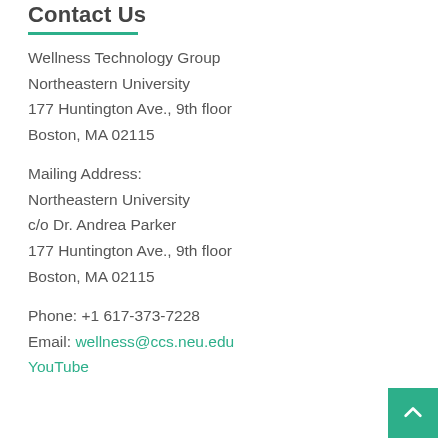Contact Us
Wellness Technology Group
Northeastern University
177 Huntington Ave., 9th floor
Boston, MA 02115
Mailing Address:
Northeastern University
c/o Dr. Andrea Parker
177 Huntington Ave., 9th floor
Boston, MA 02115
Phone: +1 617-373-7228
Email: wellness@ccs.neu.edu
YouTube